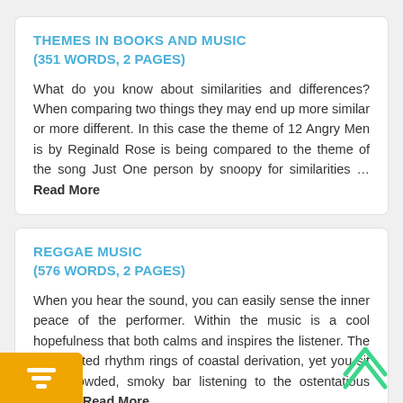THEMES IN BOOKS AND MUSIC
(351 WORDS, 2 PAGES)
What do you know about similarities and differences? When comparing two things they may end up more similar or more different. In this case the theme of 12 Angry Men is by Reginald Rose is being compared to the theme of the song Just One person by snoopy for similarities … Read More
REGGAE MUSIC
(576 WORDS, 2 PAGES)
When you hear the sound, you can easily sense the inner peace of the performer. Within the music is a cool hopefulness that both calms and inspires the listener. The syncopated rhythm rings of coastal derivation, yet you sit in a crowded, smoky bar listening to the ostentatious drivel of Read More